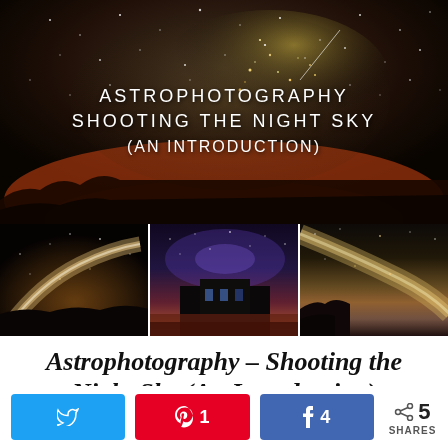[Figure (photo): Composite astrophotography image with large night sky photo on top showing Milky Way with golden/green stars against dark orange-red horizon and text overlay reading 'ASTROPHOTOGRAPHY SHOOTING THE NIGHT SKY (AN INTRODUCTION)', plus three smaller night sky photos below showing Milky Way, a building under stars, and galaxy band.]
Astrophotography – Shooting the Night Sky (An Introduction)
Twitter share button, Pinterest 1 share button, Facebook 4 shares button, share count: 5 SHARES